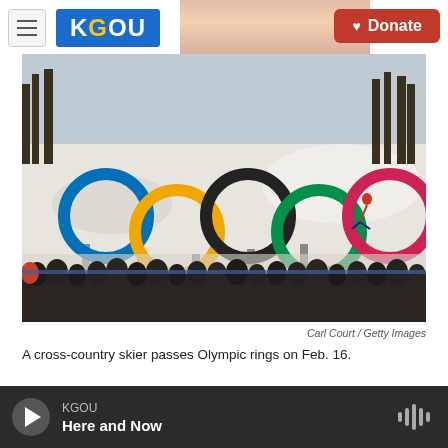KGOU | Donate
[Figure (photo): Olympic rings sculpture in a snowy winter landscape with a crowd of spectators and a cross-country skier visible in the background near trees. KGOU radio station website screenshot header showing KGOU logo and Donate button.]
Carl Court / Getty Images
A cross-country skier passes Olympic rings on Feb. 16.
Critics tend to judge Olympics coverage by a few
KGOU | Here and Now